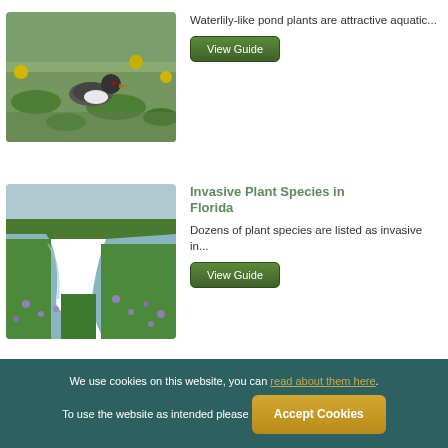[Figure (photo): A bird (grebe) swimming among waterlily pads with yellow flowers]
Waterlily-like pond plants are attractive aquatic...
View Guide
[Figure (photo): Aerial view of a Florida waterway with invasive aquatic plants and purple flowers]
Invasive Plant Species in Florida
Dozens of plant species are listed as invasive in...
View Guide
We use cookies on this website, you can read about them here. To use the website as intended please Accept Cookies